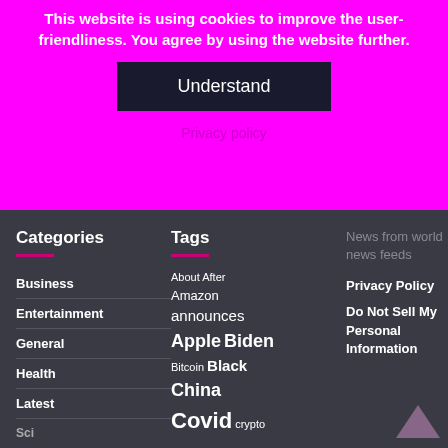This website is using cookies to improve the user-friendliness. You agree by using the website further.
Understand
Privacy policy
Categories
Business
Entertainment
General
Health
Latest
Tags
About After Amazon announces Apple Biden Bitcoin Black China Covid crypto
News from world news feeds
Privacy Policy
Do Not Sell My Personal Information